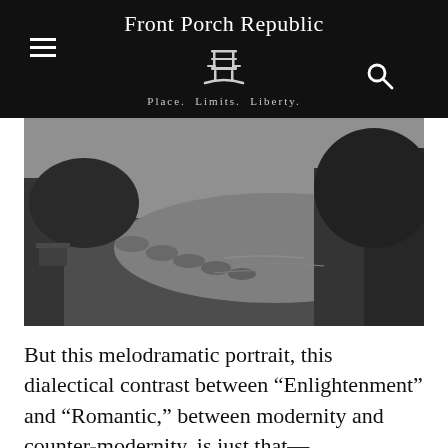Front Porch Republic
Place. Limits. Liberty.
[Figure (photo): Black and white photograph of a stone path or stepping stones leading through a wooded landscape near water, with trees and foliage visible.]
But this melodramatic portrait, this dialectical contrast between “Enlightenment” and “Romantic,” between modernity and counter-modernity, is just that—melodramatic. While the Romantics were keen to put their thumb down onto a critical issue, reading the Romantics would make it seem as if no human could possibly have a relationship with the natural world anymore. The proliferation of those dark Satanic mills, the